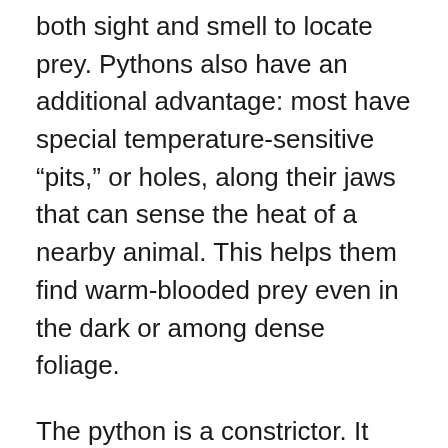both sight and smell to locate prey. Pythons also have an additional advantage: most have special temperature-sensitive "pits," or holes, along their jaws that can sense the heat of a nearby animal. This helps them find warm-blooded prey even in the dark or among dense foliage.
The python is a constrictor. It grabs its prey with its teeth, then quickly wraps coils of its body around the prey and squeezes. The python doesn't actually crush the prey and break its bones, though. Instead, it squeezes tightly so that its prey can't breathe; each time its prey exhales, the constrictor tightens its coils to take up space, causing suffocation. The python can also feel the prey's heart beating, so